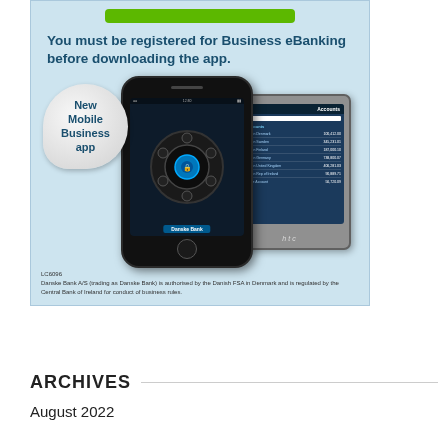[Figure (illustration): Danske Bank advertisement showing a mobile app promotion. Light blue background with a green download button at top. Text reads 'You must be registered for Business eBanking before downloading the app.' A circular sticker badge reads 'New Mobile Business app'. Shows an iPhone with circular navigation menu and Danske Bank branding, and an HTC Android phone showing account list screen. Footer shows license code LC6096 and regulatory text.]
LC6096
Danske Bank A/S (trading as Danske Bank) is authorised by the Danish FSA in Denmark and is regulated by the Central Bank of Ireland for conduct of business rules.
ARCHIVES
August 2022